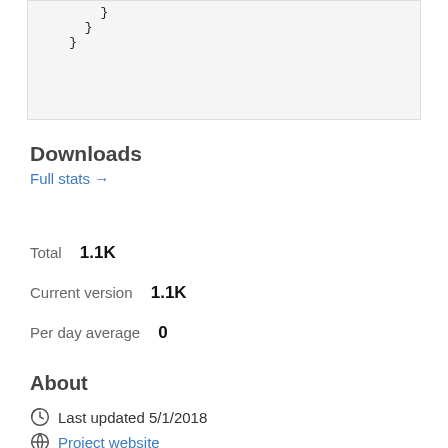}
      }
    }
Downloads
Full stats →
Total    1.1K
Current version    1.1K
Per day average    0
About
Last updated 5/1/2018
Project website